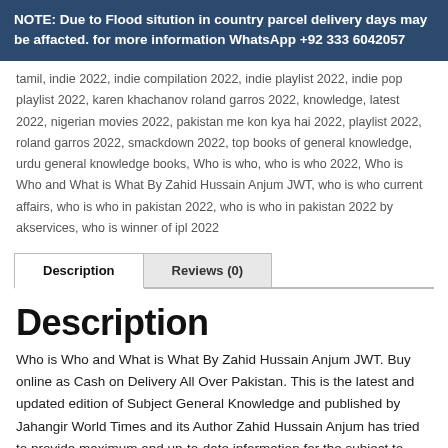NOTE: Due to Flood sitution in country parcel delivery days may be affacted. for more information WhatsApp +92 333 6042057
tamil, indie 2022, indie compilation 2022, indie playlist 2022, indie pop playlist 2022, karen khachanov roland garros 2022, knowledge, latest 2022, nigerian movies 2022, pakistan me kon kya hai 2022, playlist 2022, roland garros 2022, smackdown 2022, top books of general knowledge, urdu general knowledge books, Who is who, who is who 2022, Who is Who and What is What By Zahid Hussain Anjum JWT, who is who current affairs, who is who in pakistan 2022, who is who in pakistan 2022 by akservices, who is winner of ipl 2022
Description
Reviews (0)
Description
Who is Who and What is What By Zahid Hussain Anjum JWT. Buy online as Cash on Delivery All Over Pakistan. This is the latest and updated edition of Subject General Knowledge and published by Jahangir World Times and its Author Zahid Hussain Anjum has tried to provide maximum and up-to-date information for the subject to help students in their competitive examinations